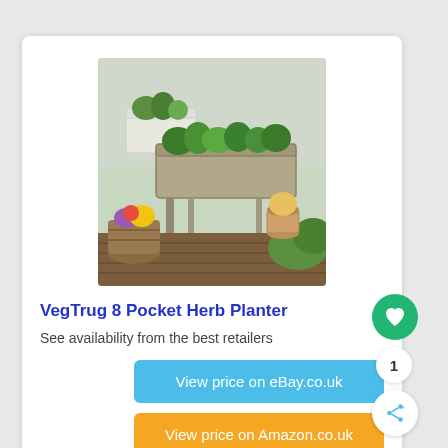[Figure (photo): A wooden VegTrug 8 Pocket Herb Planter raised garden bed on a patio, surrounded by potted flowers and herbs including colorful blooms and greenery.]
VegTrug 8 Pocket Herb Planter
See availability from the best retailers
View price on eBay.co.uk
View price on Amazon.co.uk